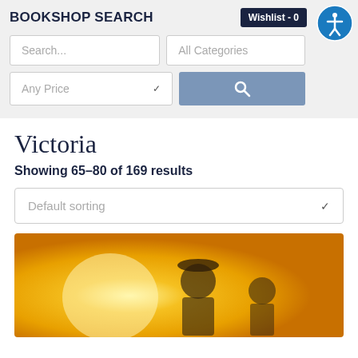BOOKSHOP SEARCH
Wishlist - 0
Search...
All Categories
Any Price
Victoria
Showing 65–80 of 169 results
Default sorting
[Figure (photo): Book cover image with golden/orange background showing two figures - a person in military uniform and another person, partially visible]